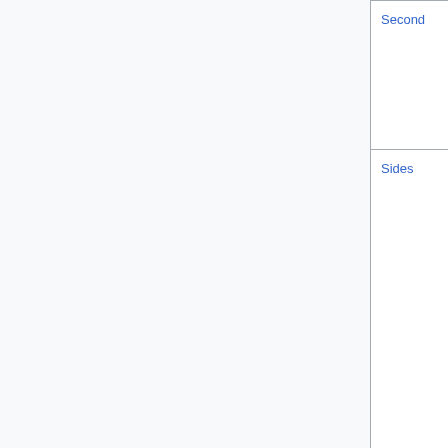| Name | Symbol | Description |
| --- | --- | --- |
| Second | s | The... caes... 133 a... |
| Sides |  | There are s... numb... funda... spac... the u... unde... etym... and t... that c... sides... deep... nothi... |
| Solubility | S_G | The s... |
|  |  | A so... conv... subs... |